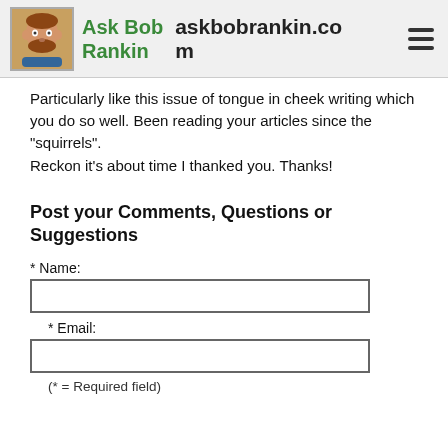Ask Bob Rankin — askbobrankin.com
Particularly like this issue of tongue in cheek writing which you do so well. Been reading your articles since the "squirrels".
Reckon it's about time I thanked you. Thanks!
Post your Comments, Questions or Suggestions
* Name:
* Email:
(* = Required field)